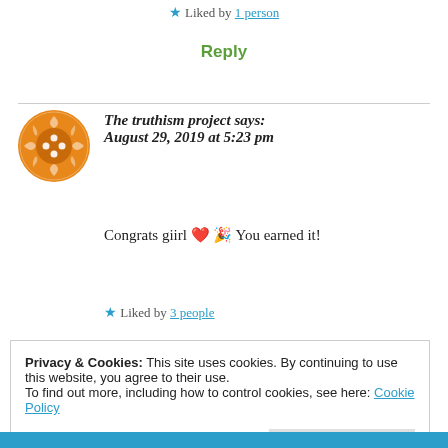★ Liked by 1 person
Reply
The truthism project says: August 29, 2019 at 5:23 pm
[Figure (illustration): Orange circular avatar icon with geometric pattern for The truthism project]
Congrats giirl ❤️🎉 You earned it!
★ Liked by 3 people
Privacy & Cookies: This site uses cookies. By continuing to use this website, you agree to their use.
To find out more, including how to control cookies, see here: Cookie Policy
Close and accept